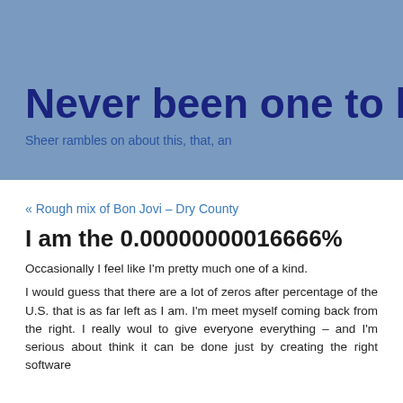Never been one to let t
Sheer rambles on about this, that, an
« Rough mix of Bon Jovi – Dry County
I am the 0.00000000016666%
Occasionally I feel like I'm pretty much one of a kind.
I would guess that there are a lot of zeros after percentage of the U.S. that is as far left as I am. I'm meet myself coming back from the right. I really woul to give everyone everything – and I'm serious about think it can be done just by creating the right software